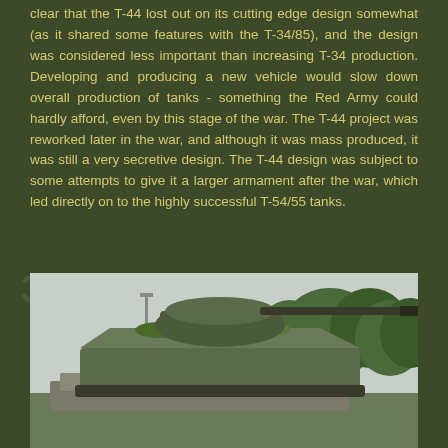clear that the T-44 lost out on its cutting edge design somewhat (as it shared some features with the T-34/85), and the design was considered less important than increasing T-34 production. Developing and producing a new vehicle would slow down overall production of tanks - something the Red Army could hardly afford, even by this stage of the war. The T-44 project was reworked later in the war, and although it was mass produced, it was still a very secretive design. The T-44 design was subject to some attempts to give it a larger armament after the war, which led directly on to the highly successful T-54/55 tanks.
[Figure (photo): Photograph of a T-44 tank displayed outdoors, showing the tank's turret and long gun barrel extending to the right, with trees visible in the background and what appears to be a monument or display setting.]